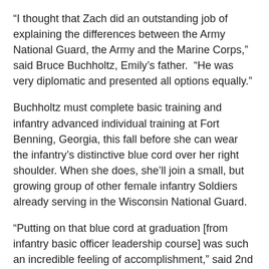“I thought that Zach did an outstanding job of explaining the differences between the Army National Guard, the Army and the Marine Corps,” said Bruce Buchholtz, Emily’s father.  “He was very diplomatic and presented all options equally.”
Buchholtz must complete basic training and infantry advanced individual training at Fort Benning, Georgia, this fall before she can wear the infantry’s distinctive blue cord over her right shoulder. When she does, she’ll join a small, but growing group of other female infantry Soldiers already serving in the Wisconsin National Guard.
“Putting on that blue cord at graduation [from infantry basic officer leadership course] was such an incredible feeling of accomplishment,” said 2nd Lt. Britney Fischer to Buchholtz before she administered the oath of